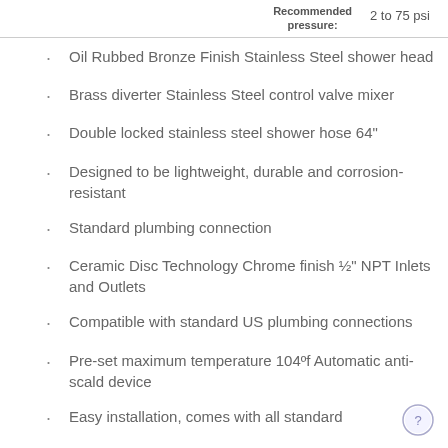Recommended pressure: 2 to 75 psi
Oil Rubbed Bronze Finish Stainless Steel shower head
Brass diverter Stainless Steel control valve mixer
Double locked stainless steel shower hose 64"
Designed to be lightweight, durable and corrosion-resistant
Standard plumbing connection
Ceramic Disc Technology Chrome finish ½" NPT Inlets and Outlets
Compatible with standard US plumbing connections
Pre-set maximum temperature 104ºf Automatic anti-scald device
Easy installation, comes with all standard